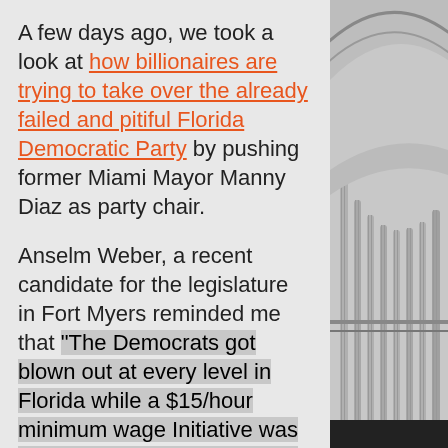A few days ago, we took a look at how billionaires are trying to take over the already failed and pitiful Florida Democratic Party by pushing former Miami Mayor Manny Diaz as party chair.
Anselm Weber, a recent candidate for the legislature in Fort Myers reminded me that "The Democrats got blown out at every level in Florida while a $15/hour minimum wage Initiative was passing with 61% of the vote the same day. Instead of seeing the obvious solution-- to run on progressive policies that distinguish the party from elitist posturing-- the establishment is doubling down on a mayor who has no
[Figure (photo): Black and white photo of a capitol building's rotunda columns on the right side of the page]